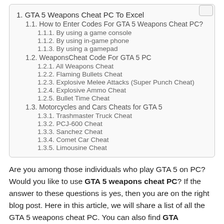1. GTA 5 Weapons Cheat PC To Excel
1.1. How to Enter Codes For GTA 5 Weapons Cheat PC?
1.1.1. By using a game console
1.1.2. By using in-game phone
1.1.3. By using a gamepad
1.2. WeaponsCheat Code For GTA 5 PC
1.2.1. All Weapons Cheat
1.2.2. Flaming Bullets Cheat
1.2.3. Explosive Melee Attacks (Super Punch Cheat)
1.2.4. Explosive Ammo Cheat
1.2.5. Bullet Time Cheat
1.3. Motorcycles and Cars Cheats for GTA 5
1.3.1. Trashmaster Truck Cheat
1.3.2. PCJ-600 Cheat
1.3.3. Sanchez Cheat
1.3.4. Comet Car Cheat
1.3.5. Limousine Cheat
Are you among those individuals who play GTA 5 on PC? Would you like to use GTA 5 weapons cheat PC? If the answer to these questions is yes, then you are on the right blog post. Here in this article, we will share a list of all the GTA 5 weapons cheat PC. You can also find GTA